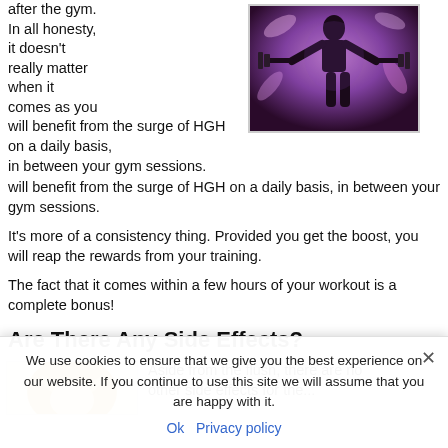after the gym. In all honesty, it doesn't really matter when it comes as you will benefit from the surge of HGH on a daily basis, in between your gym sessions.
[Figure (illustration): Silhouette of a muscular person lifting weights against a purple/pink artistic background with floral elements]
It's more of a consistency thing. Provided you get the boost, you will reap the rewards from your training.
The fact that it comes within a few hours of your workout is a complete bonus!
Are There Any Side Effects?
[Figure (photo): Partial photo of a blonde woman]
Aside from the flush, there are no other side effects for the...
We use cookies to ensure that we give you the best experience on our website. If you continue to use this site we will assume that you are happy with it.
Ok   Privacy policy